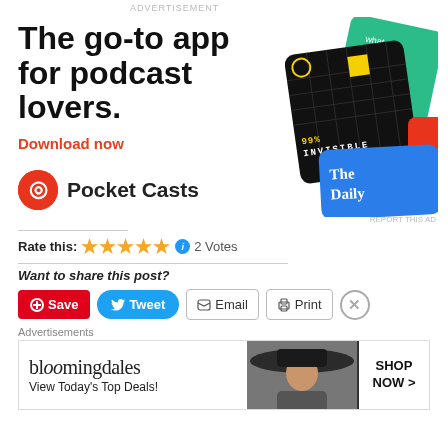ADVERTISEMENT
[Figure (illustration): Pocket Casts app advertisement: large bold headline 'The go-to app for podcast lovers.' with red 'Download now' link, Pocket Casts logo (circular red icon with white headphone graphic) and brand name, and decorative podcast app cards image on the right (99% Invisible black card, The Daily blue card, green card).]
Rate this: ★★★★★ ℹ 2 Votes
Want to share this post?
Save  Tweet  Email  Print
Advertisements
[Figure (illustration): Bloomingdale's advertisement banner: 'bloomingdales' logo text, 'View Today's Top Deals!' tagline, woman in wide-brim hat photo, 'SHOP NOW >' button box.]